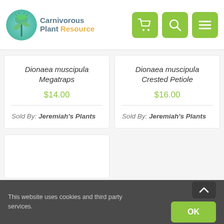Carnivorous Plant Resource
Dionaea muscipula Megatraps $14.00 Sold By: Jeremiah's Plants
Dionaea muscipula Crested Petiole $16.00 Sold By: Jeremiah's Plants
This website uses cookies and third party services.